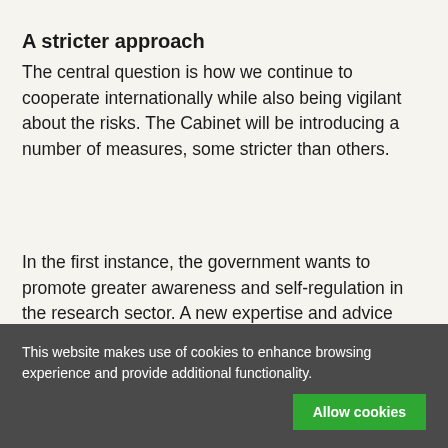A stricter approach
The central question is how we continue to cooperate internationally while also being vigilant about the risks. The Cabinet will be introducing a number of measures, some stricter than others.
In the first instance, the government wants to promote greater awareness and self-regulation in the research sector. A new expertise and advice centre will be created for 'knowledge security', which researchers can turn to if they need support, for example. But
This website makes use of cookies to enhance browsing experience and provide additional functionality.
Allow cookies